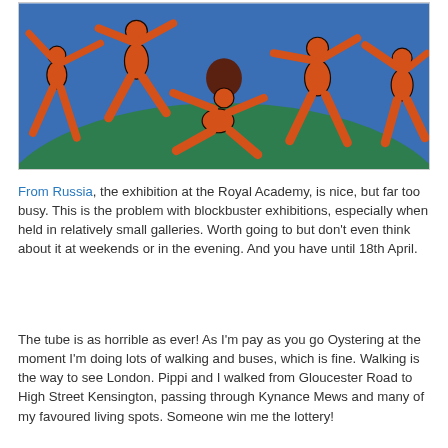[Figure (illustration): Matisse's 'Dance' painting showing orange figures dancing in a circle against a blue sky and green hill background]
From Russia, the exhibition at the Royal Academy, is nice, but far too busy. This is the problem with blockbuster exhibitions, especially when held in relatively small galleries. Worth going to but don't even think about it at weekends or in the evening. And you have until 18th April.
The tube is as horrible as ever! As I'm pay as you go Oystering at the moment I'm doing lots of walking and buses, which is fine. Walking is the way to see London. Pippi and I walked from Gloucester Road to High Street Kensington, passing through Kynance Mews and many of my favoured living spots. Someone win me the lottery!